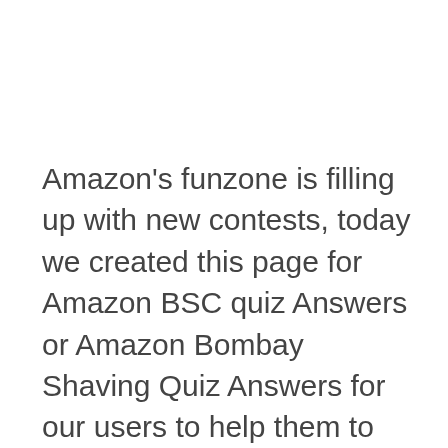Amazon's funzone is filling up with new contests, today we created this page for Amazon BSC quiz Answers or Amazon Bombay Shaving Quiz Answers for our users to help them to solve the quiz to participate in the lucky draw.
BSC is a short form of Bombay Shaving Company which is founded in 2015 in India. the company is making men's grooming,